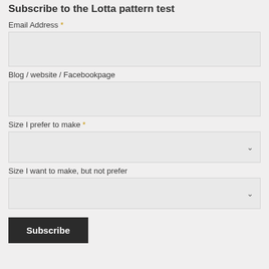Subscribe to the Lotta pattern test
Email Address *
[Figure (other): Empty text input box for Email Address]
Blog / website / Facebookpage
[Figure (other): Empty text input box for Blog / website / Facebookpage]
Size I prefer to make *
[Figure (other): Dropdown selector for Size I prefer to make]
Size I want to make, but not prefer
[Figure (other): Dropdown selector for Size I want to make, but not prefer]
Subscribe